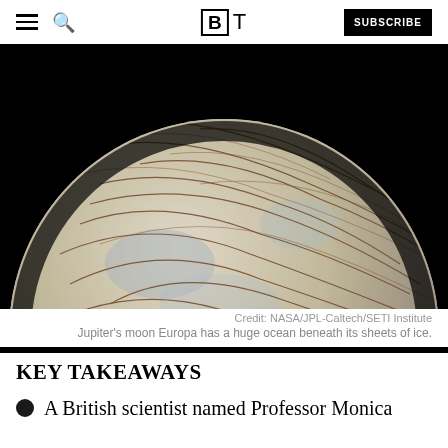BT | SUBSCRIBE
[Figure (photo): Close-up image of Jupiter's moon Europa showing its icy surface with brown streaks and cracks against a black background.]
Credit: NASA/JPL-Caltech/SETI Institute
Jupiter's moon Europa has a huge ocean beneath its sheets of ice.
KEY TAKEAWAYS
A British scientist named Professor Monica